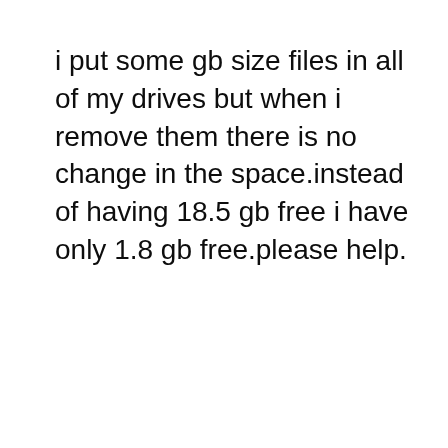i put some gb size files in all of my drives but when i remove them there is no change in the space.instead of having 18.5 gb free i have only 1.8 gb free.please help.
Reply